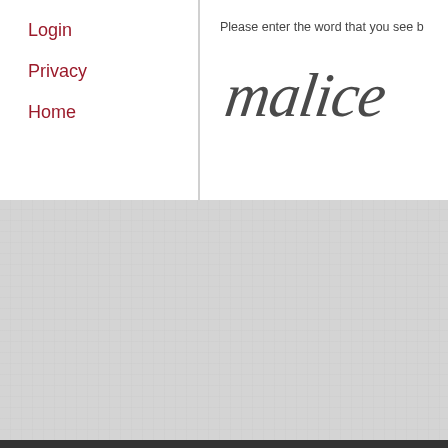Login
Privacy
Home
Please enter the word that you see b
[Figure (other): CAPTCHA image showing the handwritten/stylized word 'malice' in dark gray italic script on white background]